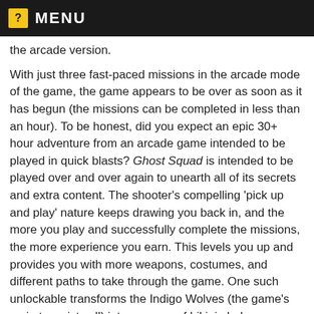MENU
the arcade version.
With just three fast-paced missions in the arcade mode of the game, the game appears to be over as soon as it has begun (the missions can be completed in less than an hour). To be honest, did you expect an epic 30+ hour adventure from an arcade game intended to be played in quick blasts? Ghost Squad is intended to be played over and over again to unearth all of its secrets and extra content. The shooter's compelling 'pick up and play' nature keeps drawing you back in, and the more you play and successfully complete the missions, the more experience you earn. This levels you up and provides you with more weapons, costumes, and different paths to take through the game. One such unlockable transforms the Indigo Wolves (the game's main terrorist cell) into an army of bikini-clad women. Blocky eye candy for all.